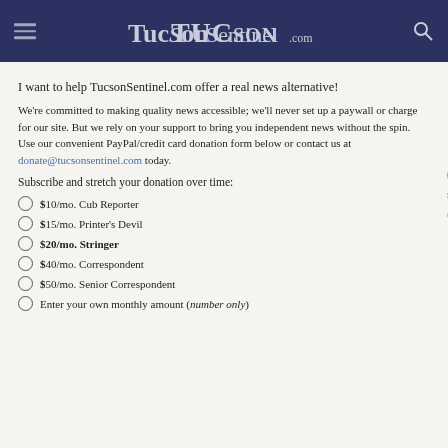TucsonSentinel.com
I want to help TucsonSentinel.com offer a real news alternative!
We're committed to making quality news accessible; we'll never set up a paywall or charge for our site. But we rely on your support to bring you independent news without the spin. Use our convenient PayPal/credit card donation form below or contact us at donate@tucsonsentinel.com today.
Subscribe and stretch your donation over time:
$10/mo. Cub Reporter
$15/mo. Printer's Devil
$20/mo. Stringer
$40/mo. Correspondent
$50/mo. Senior Correspondent
Enter your own monthly amount (number only)